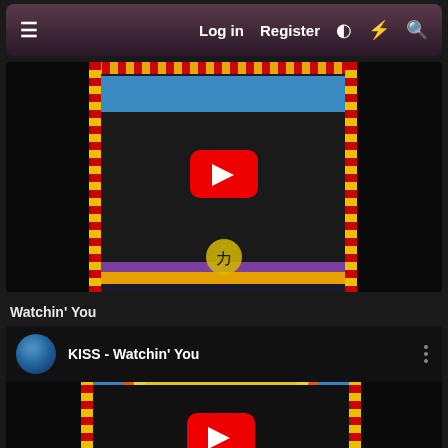≡  Log in  Register  ◑  ⚡  🔍
[Figure (screenshot): YouTube video thumbnail for a KISS song - shows KISS Hotter Than Hell album art with band members in black and white face paint costumes, red YouTube play button in center, decorative red/yellow striped border with purple fringe, Japanese katakana character カ at bottom]
Watchin' You
[Figure (screenshot): YouTube video embed player showing 'KISS - Watchin' You' with channel icon (blue globe), video title text, three-dot menu icon. Thumbnail shows KISS Hotter Than Hell album artwork with band members in costume, red YouTube play button overlay in center, decorative striped border]